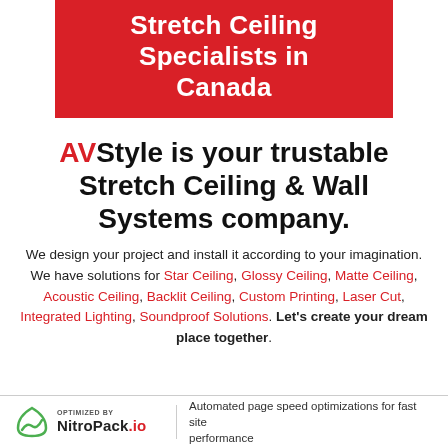Stretch Ceiling Specialists in Canada
AVStyle is your trustable Stretch Ceiling & Wall Systems company.
We design your project and install it according to your imagination. We have solutions for Star Ceiling, Glossy Ceiling, Matte Ceiling, Acoustic Ceiling, Backlit Ceiling, Custom Printing, Laser Cut, Integrated Lighting, Soundproof Solutions. Let's create your dream place together.
OPTIMIZED BY NitroPack.io | Automated page speed optimizations for fast site performance